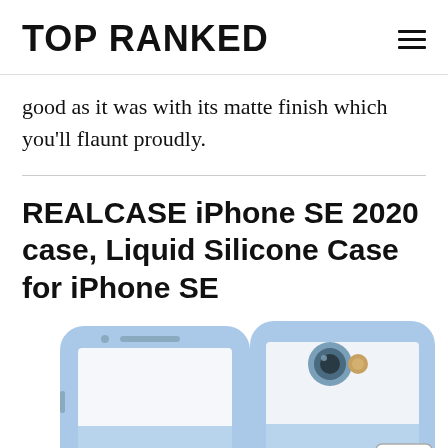TOP RANKED
good as it was with its matte finish which you'll flaunt proudly.
REALCASE iPhone SE 2020 case, Liquid Silicone Case for iPhone SE
[Figure (photo): Two light blue silicone phone cases for iPhone SE shown from the front, overlapping each other, with the camera cutout and home button visible.]